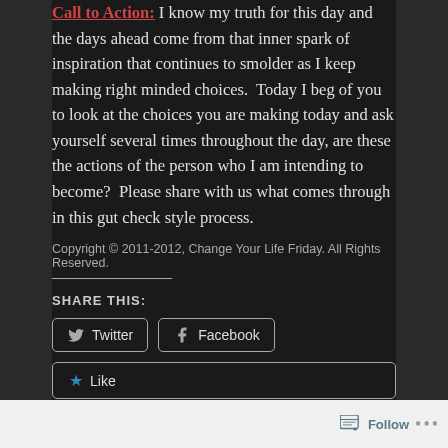Call to Action: I know my truth for this day and the days ahead come from that inner spark of inspiration that continues to smolder as I keep making right minded choices.  Today I beg of you to look at the choices you are making today and ask yourself several times throughout the day, are these the actions of the person who I am intending to become?  Please share with us what comes through in this gut check style process.
Copyright © 2011-2012, Change Your Life Friday. All Rights Reserved.
SHARE THIS:
Twitter  Facebook
Like
Be the first to like this.
Follow